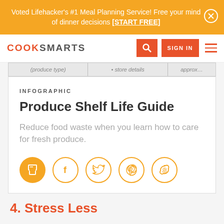Voted Lifehacker's #1 Meal Planning Service! Free your mind of dinner decisions [START FREE]
[Figure (screenshot): CookSmarts website navigation bar with logo, search button, sign in button, and hamburger menu]
[Figure (infographic): Partially visible table row from a produce guide]
INFOGRAPHIC
Produce Shelf Life Guide
Reduce food waste when you learn how to care for fresh produce.
[Figure (infographic): Social sharing icons: print (filled orange), Facebook, Twitter, Pinterest, Skype (all orange outline circles)]
4. Stress Less